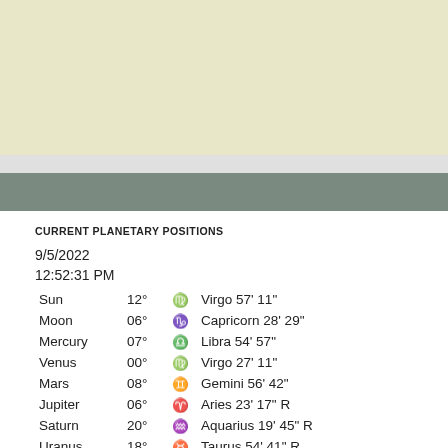[Figure (illustration): Yellow/cream colored banner block at top of page]
[Figure (illustration): Light gray horizontal stripe]
[Figure (illustration): Dark gray-green horizontal stripe]
CURRENT PLANETARY POSITIONS
9/5/2022
12:52:31 PM
| Planet | Degree | Sign Icon | Sign Position |
| --- | --- | --- | --- |
| Sun | 12° | [Virgo symbol] | Virgo 57' 11" |
| Moon | 06° | [Capricorn symbol] | Capricorn 28' 29" |
| Mercury | 07° | [Libra symbol] | Libra 54' 57" |
| Venus | 00° | [Virgo symbol] | Virgo 27' 11" |
| Mars | 08° | [Gemini symbol] | Gemini 56' 42" |
| Jupiter | 06° | [Aries symbol] | Aries 23' 17" R |
| Saturn | 20° | [Aquarius symbol] | Aquarius 19' 45" R |
| Uranus | 18° | [Taurus symbol] | Taurus 54' 41" R |